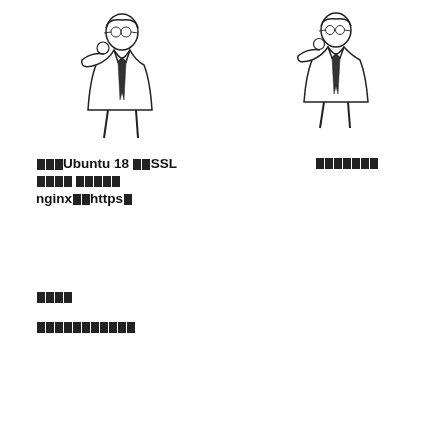[Figure (illustration): Line drawing of a person in a suit holding their hand to their face (thinking/speaking pose), left figure]
[Figure (illustration): Line drawing of a person in a suit holding their hand to their face (thinking/speaking pose), right figure]
在Ubuntu 18 上SSL 证书自动续期 自动续期 nginx配置https证书
关注公众号了解更多内容
前言
关注公众号了解更多内容